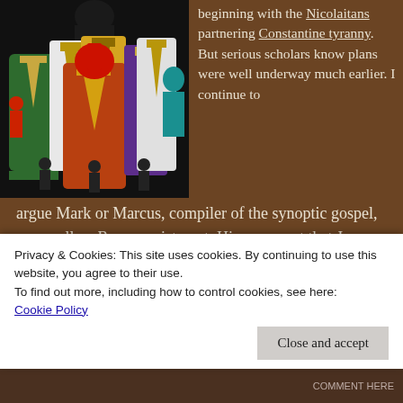[Figure (photo): Group of figures wearing various ornate religious vestments/chasubles in different colors including green, red/orange, gold/yellow, white, and purple, with a dark-robed figure at top center]
beginning with the Nicolaitans partnering Constantine tyranny. But serious scholars know plans were well underway much earlier. I continue to argue Mark or Marcus, compiler of the synoptic gospel, was really a Roman aristocrat. His argument that Jesus was a part mortal Son of God satisfies all contemporary Roman ideals. If Jesus
Privacy & Cookies: This site uses cookies. By continuing to use this website, you agree to their use.
To find out more, including how to control cookies, see here:
Cookie Policy
Close and accept